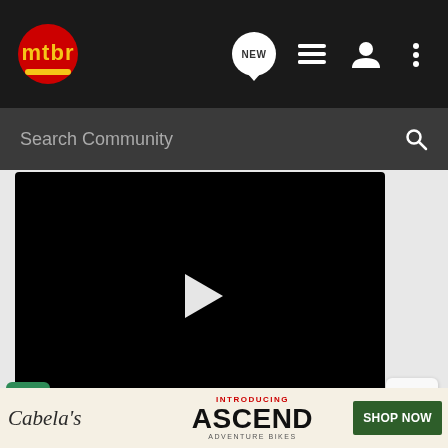[Figure (screenshot): MTBR website navigation bar with logo, NEW chat icon, list icon, user icon, and more (three dots) icon on dark background]
Search Community
[Figure (screenshot): Embedded video player showing black screen with white play button triangle in center, with a Learn more button below]
[Figure (screenshot): Back to top button with upward arrow icon]
dandurston · Registered
[Figure (screenshot): Advertisement banner: Cabela's Introducing ASCEND Adventure Bikes - SHOP NOW]